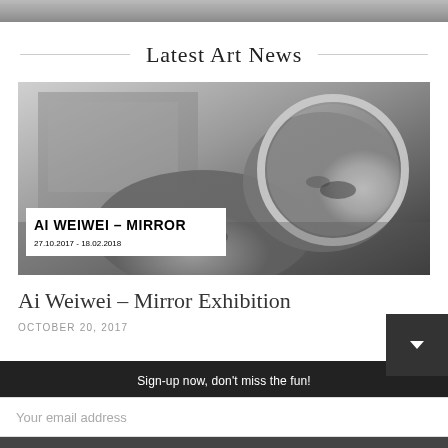[Figure (photo): Top portion of a photo, partially cropped]
Latest Art News
[Figure (photo): Black and white photograph of Ai Weiwei with a mirror, with overlay text 'AI WEIWEI - MIRROR, 27.10.2017 - 18.02.2018']
Ai Weiwei – Mirror Exhibition
OCTOBER 20, 2017
Sign-up now, don't miss the fun!
Your email address
SUBSCRIBE